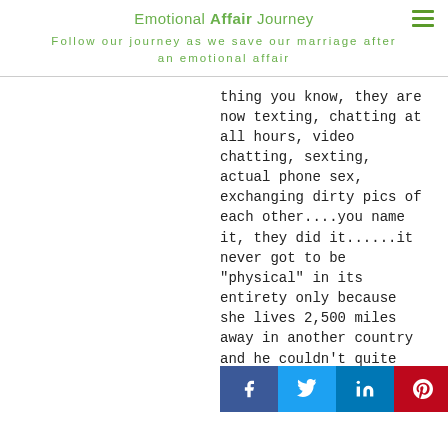Emotional Affair Journey
Follow our journey as we save our marriage after an emotional affair
thing you know, they are now texting, chatting at all hours, video chatting, sexting, actual phone sex, exchanging dirty pics of each other....you name it, they did it......it never got to be “physical” in its entirety only because she lives 2,500 miles away in another country and he couldn’t quite manage how to travel there without me knowing about it and not raise war about it....he did ask me for permission no less than 10 times to let him travel there for a weekend just so they could meet and possibly consummate the relationship....... ARE YOU READING THIS CORRECTLY??? THE IDIOT WAS ASKING ME FOR PERMISSION TO GO MEET HIS AFFAIR PARTNER!!!!! Who in their right mind does something like this?!?!? You got that right: NO ONE. This goes to show you that affair fog IS real, that the
[Figure (infographic): Social sharing bar with Facebook, Twitter, LinkedIn, and Pinterest buttons]